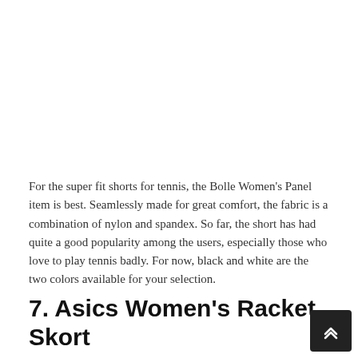For the super fit shorts for tennis, the Bolle Women's Panel item is best. Seamlessly made for great comfort, the fabric is a combination of nylon and spandex. So far, the short has had quite a good popularity among the users, especially those who love to play tennis badly. For now, black and white are the two colors available for your selection.
7. Asics Women's Racket Skort